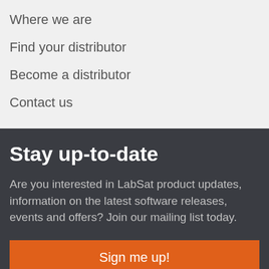Where we are
Find your distributor
Become a distributor
Contact us
Stay up-to-date
Are you interested in LabSat product updates, information on the latest software releases, events and offers? Join our mailing list today.
Sign me up!